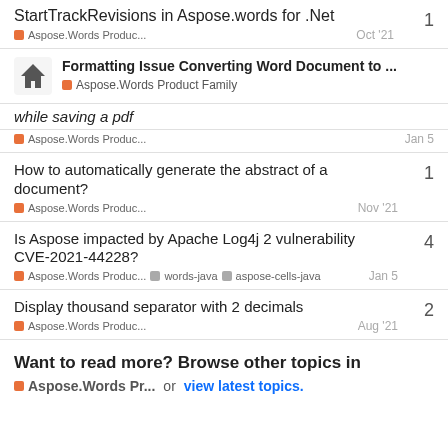StartTrackRevisions in Aspose.words for .Net
Aspose.Words Produc... Oct '21 1
Formatting Issue Converting Word Document to ... Aspose.Words Product Family
while saving a pdf
Aspose.Words Produc... Jan 5
How to automatically generate the abstract of a document?
Aspose.Words Produc... Nov '21 1
Is Aspose impacted by Apache Log4j 2 vulnerability CVE-2021-44228?
Aspose.Words Produc... words-java aspose-cells-java Jan 5 4
Display thousand separator with 2 decimals
Aspose.Words Produc... Aug '21 2
Want to read more? Browse other topics in Aspose.Words Pr... or view latest topics.